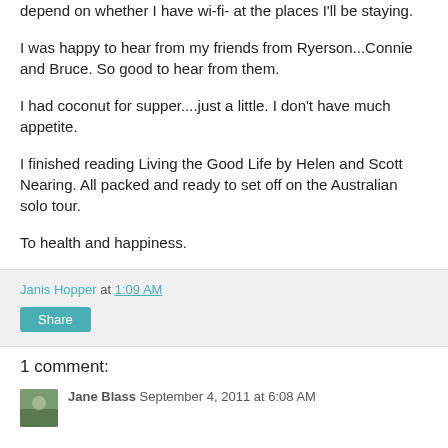depend on whether I have wi-fi- at the places I'll be staying.
I was happy to hear from my friends from Ryerson...Connie and Bruce.  So good to hear from them.
I had coconut for supper....just a little.  I don't have much appetite.
I finished reading Living the Good Life by Helen and Scott Nearing.   All packed and ready to set off on the Australian solo tour.
To health and happiness.
Janis Hopper at 1:09 AM
Share
1 comment:
Jane Blass  September 4, 2011 at 6:08 AM